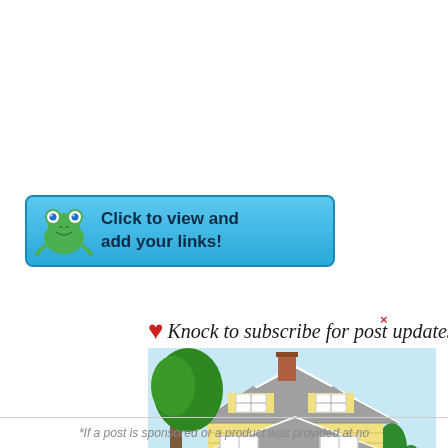[Figure (illustration): Blue button with frog icon and text 'Click to view and add your links!']
♥ Knock to subscribe for post updates! ♥
[Figure (illustration): Illustrated yellow craftsman house with red door, white porch railing, American flag, green trees, blue sky background]
*If a post is sponsored or a product was provided at no